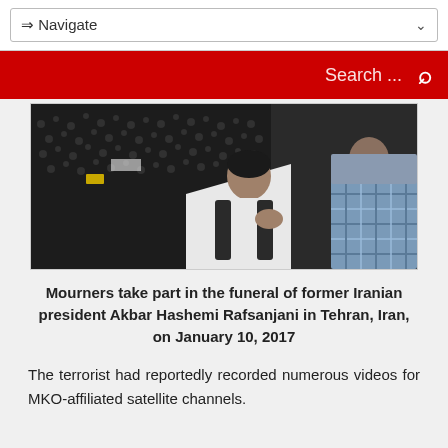⇒ Navigate
Search ...
[Figure (photo): Aerial and close-up view of mourners at a funeral, showing a large crowd from above and two men in the foreground, one in a plaid shirt]
Mourners take part in the funeral of former Iranian president Akbar Hashemi Rafsanjani in Tehran, Iran, on January 10, 2017
The terrorist had reportedly recorded numerous videos for MKO-affiliated satellite channels.